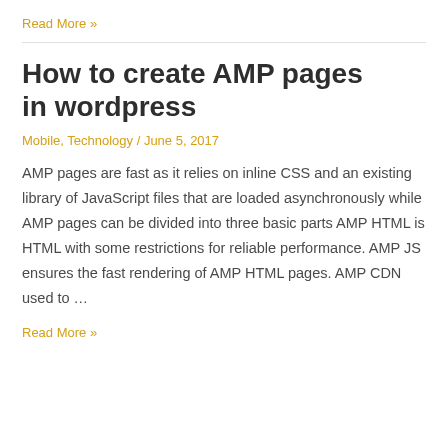Read More »
How to create AMP pages in wordpress
Mobile, Technology / June 5, 2017
AMP pages are fast as it relies on inline CSS and an existing library of JavaScript files that are loaded asynchronously while AMP pages can be divided into three basic parts AMP HTML is HTML with some restrictions for reliable performance. AMP JS ensures the fast rendering of AMP HTML pages. AMP CDN used to …
Read More »